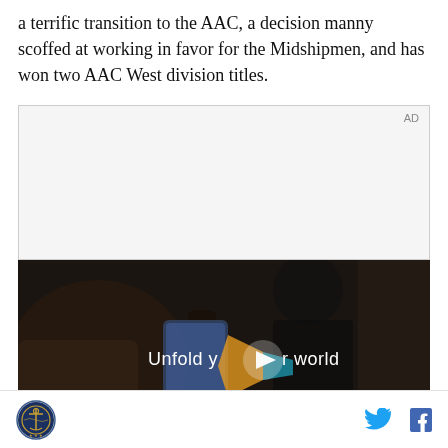a terrific transition to the AAC, a decision manny scoffed at working in favor for the Midshipmen, and has won two AAC West division titles.
[Figure (other): Advertisement placeholder box with 'AD' label in top-right corner]
[Figure (other): Video player showing Samsung Galaxy fold advertisement with text 'Unfold your world' and a play button overlay, dark interior car scene with person holding phone]
Navy logo seal icon on left; Twitter bird icon and Facebook f icon on right